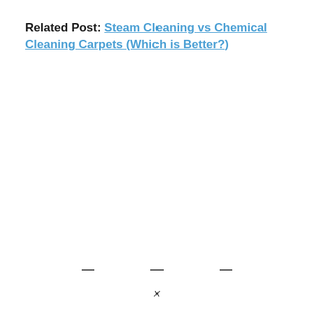Related Post: Steam Cleaning vs Chemical Cleaning Carpets (Which is Better?)